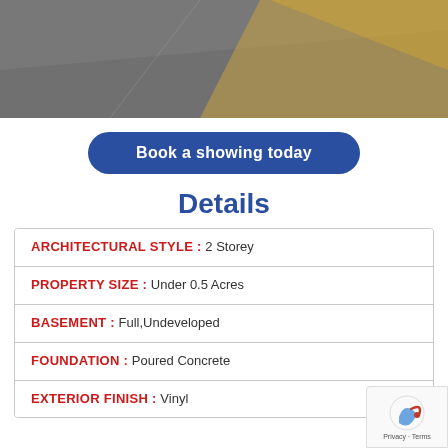[Figure (photo): Aerial or ground-level photo of a driveway/road with autumn leaves visible on the right side]
Book a showing today
Details
| ARCHITECTURAL STYLE : | 2 Storey |
| PROPERTY SIZE : | Under 0.5 Acres |
| BASEMENT : | Full,Undeveloped |
| FOUNDATION : | Poured Concrete |
| EXTERIOR FINISH : | Vinyl |